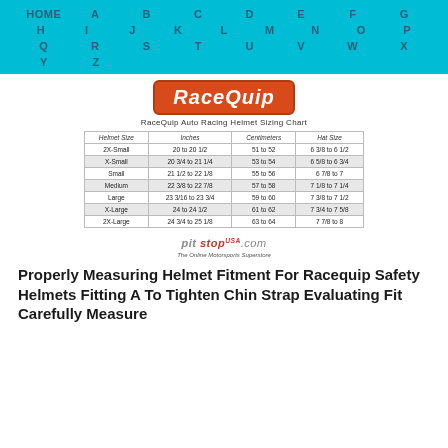HOME A B C D E F G H I J K L M N O P Q R S T U V W X Y Z
[Figure (logo): RaceQuip logo - red rounded rectangle with white italic text]
RaceQuip Auto Racing Helmet Sizing Chart
| Helmet Size | Inches | Centimeters | Hat Size |
| --- | --- | --- | --- |
| 2X-Small | 20 to 20 1/2 | 51 to 52 | 6 3/8 to 6 1/2 |
| X-Small | 20 3/4 to 21 1/4 | 53 to 54 | 6 5/8 to 6 3/4 |
| Small | 21 1/2 to 22 1/8 | 55 to 56 | 6 7/8 to 7 |
| Medium | 22 3/8 to 22 7/8 | 57 to 58 | 7 1/8 to 7 1/4 |
| Large | 23 3/16 to 23 3/4 | 59 to 60 | 7 3/8 to 7 1/2 |
| X-Large | 24 to 24 1/2 | 61 to 62 | 7 3/4 to 7 5/8 |
| 2X-Large | 24 3/4 to 25 1/8 | 63 to 64 | 7 7/8 to 8 |
[Figure (logo): Pit Stop USA logo with tagline The Online Motorsports Superstore]
Properly Measuring Helmet Fitment For Racequip Safety Helmets Fitting A To Tighten Chin Strap Evaluating Fit Carefully Measure